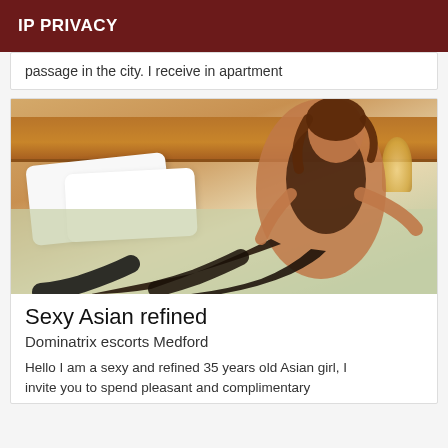IP PRIVACY
passage in the city. I receive in apartment
[Figure (photo): Woman in lingerie seated on a bed with wooden headboard and white pillows]
Sexy Asian refined
Dominatrix escorts Medford
Hello I am a sexy and refined 35 years old Asian girl, I invite you to spend pleasant and complimentary